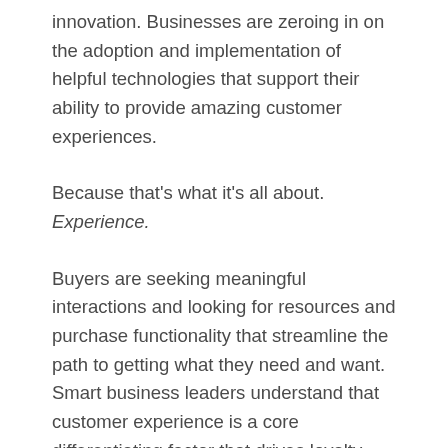innovation. Businesses are zeroing in on the adoption and implementation of helpful technologies that support their ability to provide amazing customer experiences.
Because that's what it's all about. Experience.
Buyers are seeking meaningful interactions and looking for resources and purchase functionality that streamline the path to getting what they need and want. Smart business leaders understand that customer experience is a core differentiating factor that drives loyalty and overall revenue growth. And they are prioritising solutions that help them to optimise their investments, centralise efforts and support their own customers'